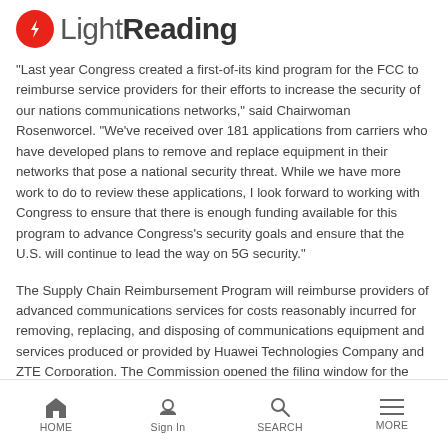LightReading
"Last year Congress created a first-of-its kind program for the FCC to reimburse service providers for their efforts to increase the security of our nations communications networks," said Chairwoman Rosenworcel. "We've received over 181 applications from carriers who have developed plans to remove and replace equipment in their networks that pose a national security threat. While we have more work to do to review these applications, I look forward to working with Congress to ensure that there is enough funding available for this program to advance Congress's security goals and ensure that the U.S. will continue to lead the way on 5G security."
The Supply Chain Reimbursement Program will reimburse providers of advanced communications services for costs reasonably incurred for removing, replacing, and disposing of communications equipment and services produced or provided by Huawei Technologies Company and ZTE Corporation. The Commission opened the filing window for the program on October
HOME  Sign In  SEARCH  MORE